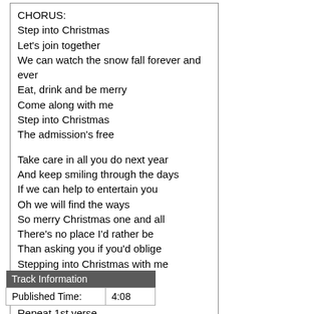CHORUS:
Step into Christmas
Let's join together
We can watch the snow fall forever and ever
Eat, drink and be merry
Come along with me
Step into Christmas
The admission's free

Take care in all you do next year
And keep smiling through the days
If we can help to entertain you
Oh we will find the ways
So merry Christmas one and all
There's no place I'd rather be
Than asking you if you'd oblige
Stepping into Christmas with me

CHORUS

Repeat 1st verse

CHORUS X3
| Track Information |
| --- |
| Published Time: | 4:08 |